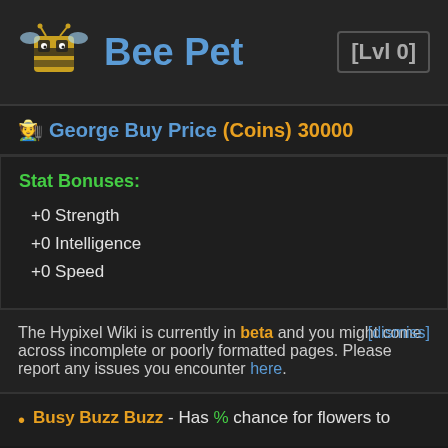Bee Pet
[Lvl 0]
George Buy Price (Coins) 30000
Stat Bonuses:
+0 Strength
+0 Intelligence
+0 Speed
The Hypixel Wiki is currently in beta and you might come across incomplete or poorly formatted pages. Please report any issues you encounter here. [dismiss]
Busy Buzz Buzz - Has % chance for flowers to